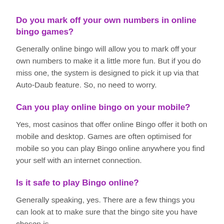Do you mark off your own numbers in online bingo games?
Generally online bingo will allow you to mark off your own numbers to make it a little more fun. But if you do miss one, the system is designed to pick it up via that Auto-Daub feature. So, no need to worry.
Can you play online bingo on your mobile?
Yes, most casinos that offer online Bingo offer it both on mobile and desktop. Games are often optimised for mobile so you can play Bingo online anywhere you find your self with an internet connection.
Is it safe to play Bingo online?
Generally speaking, yes. There are a few things you can look at to make sure that the bingo site you have chosen is